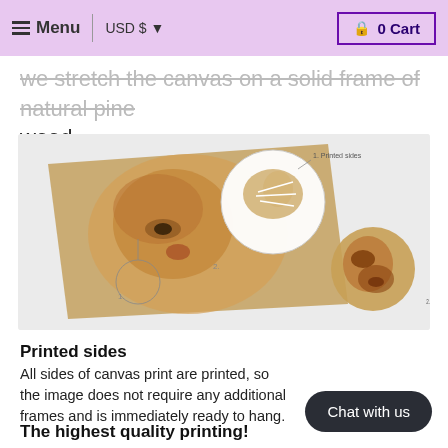Menu | USD $ | 0 Cart
we stretch the canvas on a solid frame of natural pine wood.
[Figure (photo): Product photo showing a canvas print of a lion with callout circles: 1. Printed sides, 2. High quality print]
Printed sides
All sides of canvas print are printed, so the image does not require any additional frames and is immediately ready to hang.
The highest quality printing!
Italian canvas in combination with the right print